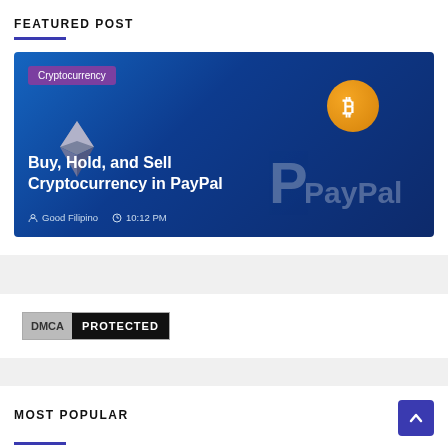FEATURED POST
[Figure (screenshot): Featured blog post card showing a cryptocurrency article titled 'Buy, Hold, and Sell Cryptocurrency in PayPal' with a blue gradient background, Ethereum and Bitcoin logos, and PayPal branding. Author: Good Filipino, Time: 10:12 PM. Category tag: Cryptocurrency.]
[Figure (logo): DMCA PROTECTED badge — grey box with 'DMCA' text and black box with 'PROTECTED' text]
MOST POPULAR